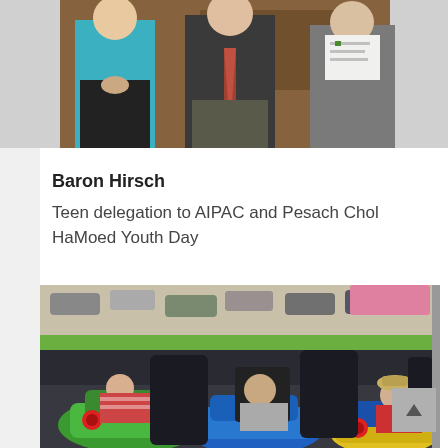[Figure (photo): Group of three people standing indoors, one in a teal top, one in a suit with a tie, one in a grey jacket holding papers, in front of a dark wooden backdrop]
Baron Hirsch
Teen delegation to AIPAC and Pesach Chol HaMoed Youth Day
[Figure (photo): Children riding bumper cars at an amusement park ride outdoors, with a parking lot and grass in the background]